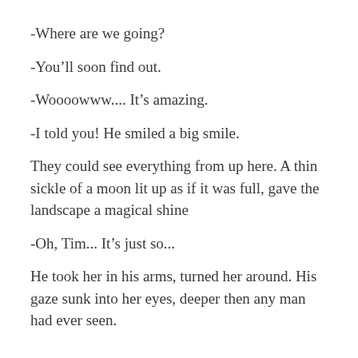-Where are we going?
-You’ll soon find out.
-Woooowww.... It’s amazing.
-I told you! He smiled a big smile.
They could see everything from up here. A thin sickle of a moon lit up as if it was full, gave the landscape a magical shine
-Oh, Tim... It’s just so...
He took her in his arms, turned her around. His gaze sunk into her eyes, deeper then any man had ever seen.